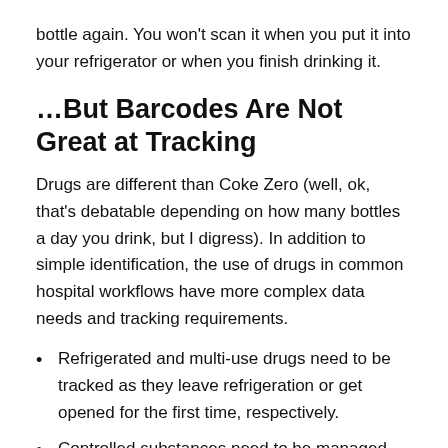bottle again. You won't scan it when you put it into your refrigerator or when you finish drinking it.
…But Barcodes Are Not Great at Tracking
Drugs are different than Coke Zero (well, ok, that's debatable depending on how many bottles a day you drink, but I digress). In addition to simple identification, the use of drugs in common hospital workflows have more complex data needs and tracking requirements.
Refrigerated and multi-use drugs need to be tracked as they leave refrigeration or get opened for the first time, respectively.
Controlled substances need to be managed and accounted for in a stricter way.